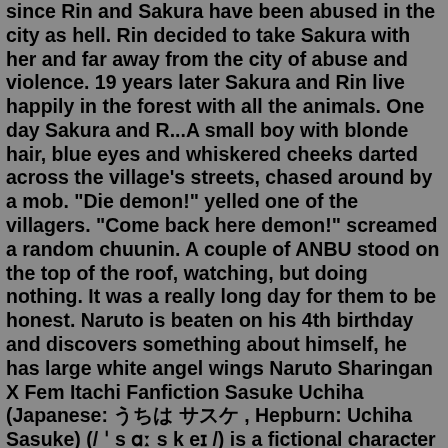since Rin and Sakura have been abused in the city as hell. Rin decided to take Sakura with her and far away from the city of abuse and violence. 19 years later Sakura and Rin live happily in the forest with all the animals. One day Sakura and R...A small boy with blonde hair, blue eyes and whiskered cheeks darted across the village's streets, chased around by a mob. "Die demon!" yelled one of the villagers. "Come back here demon!" screamed a random chuunin. A couple of ANBU stood on the top of the roof, watching, but doing nothing. It was a really long day for them to be honest. Naruto is beaten on his 4th birthday and discovers something about himself, he has large white angel wings Naruto Sharingan X Fem Itachi Fanfiction Sasuke Uchiha (Japanese: うちは サスケ , Hepburn: Uchiha Sasuke) (/ ˈ s ɑː s k eɪ /) is a fictional character in the Naruto manga and anime franchise created by Masashi Kishimoto Dr Anoosh ...Underage. Uzumaki Naruto, a twenty-one-year-old young man has been through a lot. He was abused and neglected by his family, pregnant from his